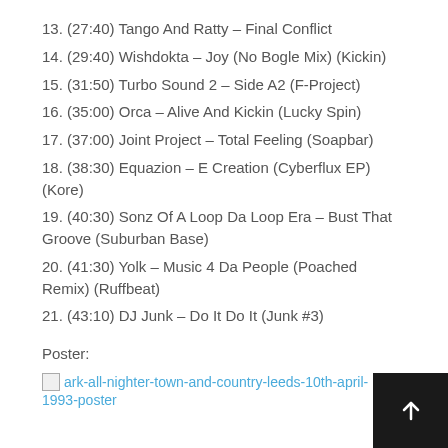13. (27:40) Tango And Ratty – Final Conflict
14. (29:40) Wishdokta – Joy (No Bogle Mix) (Kickin)
15. (31:50) Turbo Sound 2 – Side A2 (F-Project)
16. (35:00) Orca – Alive And Kickin (Lucky Spin)
17. (37:00) Joint Project – Total Feeling (Soapbar)
18. (38:30) Equazion – E Creation (Cyberflux EP) (Kore)
19. (40:30) Sonz Of A Loop Da Loop Era – Bust That Groove (Suburban Base)
20. (41:30) Yolk – Music 4 Da People (Poached Remix) (Ruffbeat)
21. (43:10) DJ Junk – Do It Do It (Junk #3)
Poster:
[Figure (other): Broken image link: ark-all-nighter-town-and-country-leeds-10th-april-1993-poster]